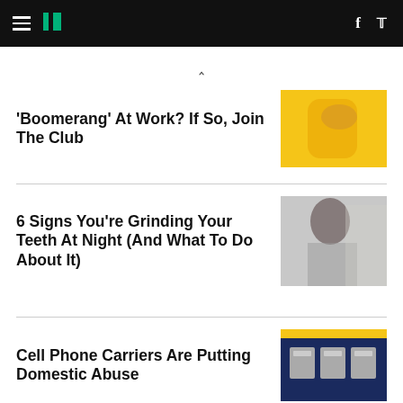HuffPost navigation with hamburger menu, logo, Facebook and Twitter icons
'Boomerang' At Work? If So, Join The Club
[Figure (photo): Person in yellow top flexing arm against yellow background]
6 Signs You're Grinding Your Teeth At Night (And What To Do About It)
[Figure (photo): Woman brushing teeth looking in mirror]
Cell Phone Carriers Are Putting Domestic Abuse
[Figure (photo): Blue background with illustrated server/computer boxes, yellow stripe at top]